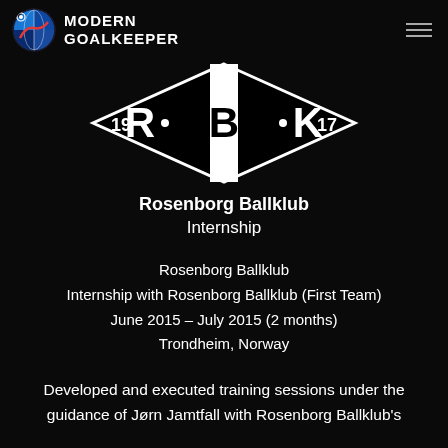MODERN GOALKEEPER
[Figure (logo): Rosenborg Ballklub diamond-shaped logo with RBK text and years 19 and 17]
Rosenborg Ballklub
Internship
Rosenborg Ballklub
Internship with Rosenborg Ballklub (First Team)
June 2015 – July 2015 (2 months)
Trondheim, Norway
Developed and executed training sessions under the guidance of Jørn Jamtfall with Rosenborg Ballklub's